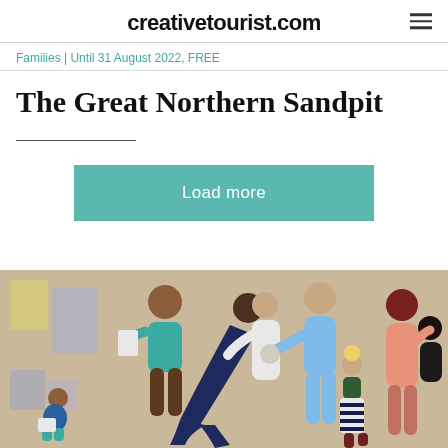creativetourist.com
Families | Until 31 August 2022, FREE
The Great Northern Sandpit
Load more
[Figure (illustration): Illustration of diverse groups of people including adults and children in various poses against a beige/tan background. Figures include people looking at artwork on walls, a person in a dynamic leaning pose, adults with children, and a group on the right side.]